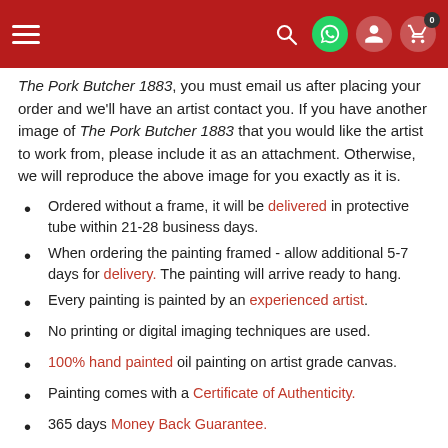[Navigation bar with hamburger menu, search, WhatsApp, user, and cart icons]
The Pork Butcher 1883, you must email us after placing your order and we'll have an artist contact you. If you have another image of The Pork Butcher 1883 that you would like the artist to work from, please include it as an attachment. Otherwise, we will reproduce the above image for you exactly as it is.
Ordered without a frame, it will be delivered in protective tube within 21-28 business days.
When ordering the painting framed - allow additional 5-7 days for delivery. The painting will arrive ready to hang.
Every painting is painted by an experienced artist.
No printing or digital imaging techniques are used.
100% hand painted oil painting on artist grade canvas.
Painting comes with a Certificate of Authenticity.
365 days Money Back Guarantee.